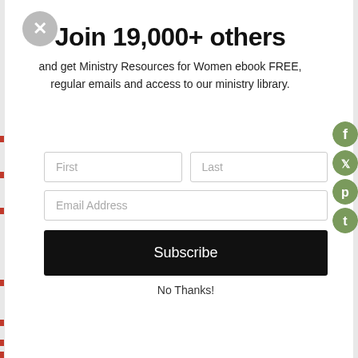Join 19,000+ others
and get Ministry Resources for Women ebook FREE, regular emails and access to our ministry library.
[Figure (screenshot): Sign-up form with First/Last name fields, Email Address field, and Subscribe button]
No Thanks!
[Figure (infographic): Social media icon buttons for Facebook, Twitter, Pinterest, and Tumblr in olive green circles on right edge]